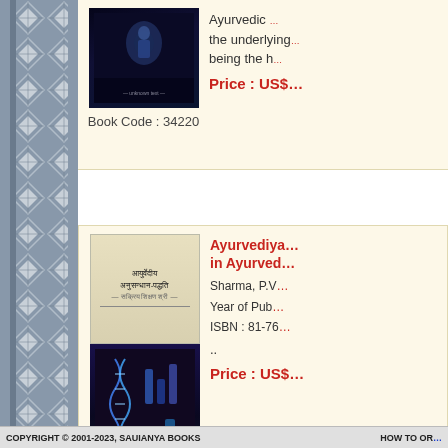[Figure (photo): Book cover with dark blue background (Book Code 34220)]
Book Code : 34220
[Figure (photo): Ayurvediya book cover with Hindi text and science imagery (Book Code 43765)]
Book Code : 43765
Ayurvediya ... in Ayurved... Sharma, P.V. Year of Pub... ISBN : 81-76... .. Price : US$...
Previous  1 2 3 4 5 6 7 8 9 ... 26 27 28 29 30 31 32 33 34 35 ... 52 53 54 55 56 57 58 59 60 61 ... 78 79 80 81 82 83 84 85 86 87 ... 103 104 105 106 107 108 109 ... 121 122 123 124 125 126 127 ... 1399
COPYRIGHT © 2001-2023, SAUIANYA BOOKS    HOW TO OR...